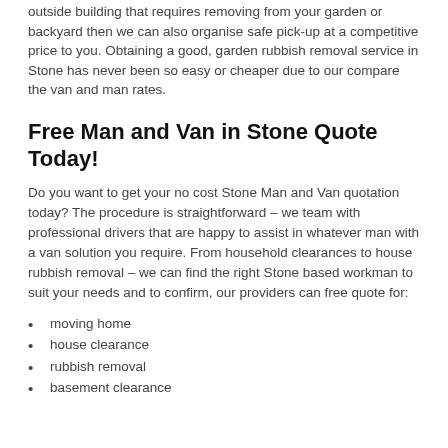outside building that requires removing from your garden or backyard then we can also organise safe pick-up at a competitive price to you. Obtaining a good, garden rubbish removal service in Stone has never been so easy or cheaper due to our compare the van and man rates.
Free Man and Van in Stone Quote Today!
Do you want to get your no cost Stone Man and Van quotation today? The procedure is straightforward – we team with professional drivers that are happy to assist in whatever man with a van solution you require. From household clearances to house rubbish removal – we can find the right Stone based workman to suit your needs and to confirm, our providers can free quote for:
moving home
house clearance
rubbish removal
basement clearance